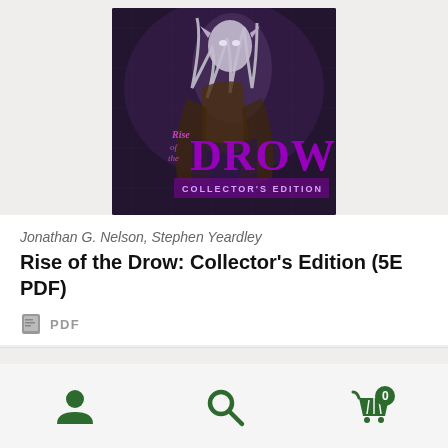[Figure (illustration): Book cover for 'Rise of the Drow: Collector's Edition' showing a dark elf female with white hair and pointed ears against a stone background, with large purple text reading 'Rise of the DROW' and subtitle 'COLLECTOR'S EDITION']
Jonathan G. Nelson, Stephen Yeardley
Rise of the Drow: Collector's Edition (5E PDF)
PDF
[Figure (infographic): Bottom navigation bar with three icons: user/account icon, search icon, and shopping cart icon with badge showing '0']